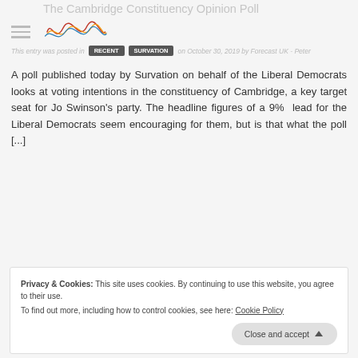The Cambridge Constituency Opinion Poll
This entry was posted in RECENT SURVATION on October 30, 2019 by Forecast UK - Peter
A poll published today by Survation on behalf of the Liberal Democrats looks at voting intentions in the constituency of Cambridge, a key target seat for Jo Swinson's party. The headline figures of a 9%  lead for the Liberal Democrats seem encouraging for them, but is that what the poll [...]
Privacy & Cookies: This site uses cookies. By continuing to use this website, you agree to their use.
To find out more, including how to control cookies, see here: Cookie Policy
Close and accept